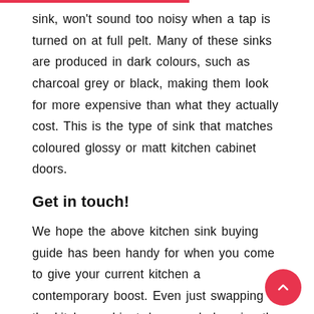sink, won't sound too noisy when a tap is turned on at full pelt. Many of these sinks are produced in dark colours, such as charcoal grey or black, making them look for more expensive than what they actually cost. This is the type of sink that matches coloured glossy or matt kitchen cabinet doors.
Get in touch!
We hope the above kitchen sink buying guide has been handy for when you come to give your current kitchen a contemporary boost. Even just swapping the kitchen cabinet doors and changing the sink and worktops can make a huge difference to your kitchen, making it feel completely new. And the best bit? The price tag is a fraction of what it would cost you to have it redesigned